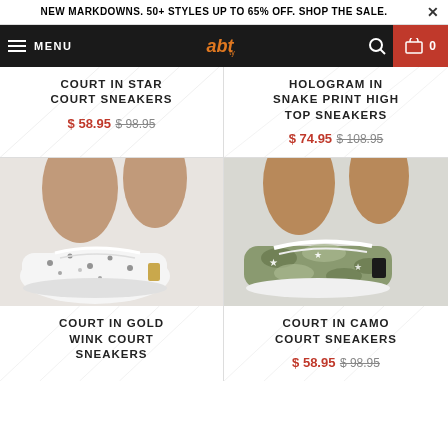NEW MARKDOWNS. 50+ STYLES UP TO 65% OFF. SHOP THE SALE.
MENU | [logo] | [search] | cart 0
COURT IN STAR COURT SNEAKERS
$ 58.95  $ 98.95
HOLOGRAM IN SNAKE PRINT HIGH TOP SNEAKERS
$ 74.95  $ 108.95
[Figure (photo): White sneakers with black print pattern on feet]
[Figure (photo): Camo/grey patterned sneakers with white laces on feet]
COURT IN GOLD WINK COURT SNEAKERS
COURT IN CAMO COURT SNEAKERS
$ 58.95  $ 98.95